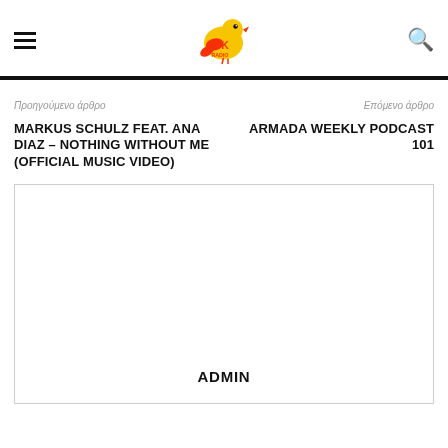OK Radio - Navigation header with logo, hamburger menu, and search icon
Προηγούμενο άρθρο
Επόμενο άρθρο
MARKUS SCHULZ FEAT. ANA DIAZ – NOTHING WITHOUT ME (OFFICIAL MUSIC VIDEO)
ARMADA WEEKLY PODCAST 101
[Figure (other): Content box with ADMIN label at bottom center]